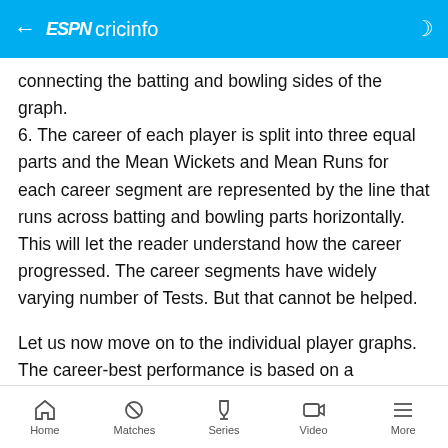ESPN cricinfo
connecting the batting and bowling sides of the graph. 6. The career of each player is split into three equal parts and the Mean Wickets and Mean Runs for each career segment are represented by the line that runs across batting and bowling parts horizontally. This will let the reader understand how the career progressed. The career segments have widely varying number of Tests. But that cannot be helped.
Let us now move on to the individual player graphs. The career-best performance is based on a normalisation of wickets taken to runs scored, with each wicket being equated to 25 runs.
Home | Matches | Series | Video | More